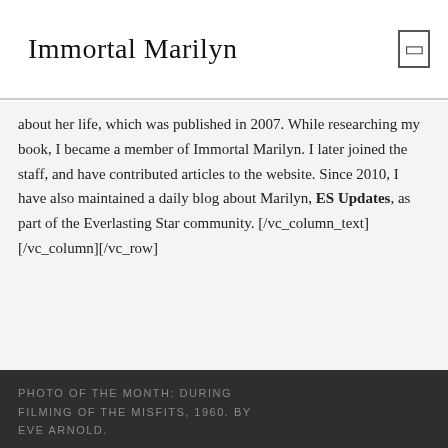Immortal Marilyn
about her life, which was published in 2007. While researching my book, I became a member of Immortal Marilyn. I later joined the staff, and have contributed articles to the website. Since 2010, I have also maintained a daily blog about Marilyn, ES Updates, as part of the Everlasting Star community. [/vc_column_text][/vc_column][/vc_row]
PHOTO OF THE MONTH: DURING FILMING OF THE MISFITS, 1960. BY EVE ARNOLD.